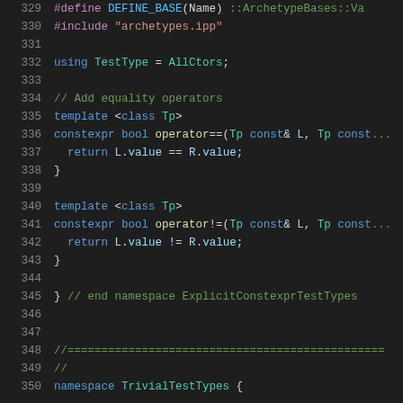[Figure (screenshot): C++ source code snippet showing lines 329-350 with syntax highlighting on a dark background. Lines include #define, #include, using alias, template equality operators, and namespace declarations.]